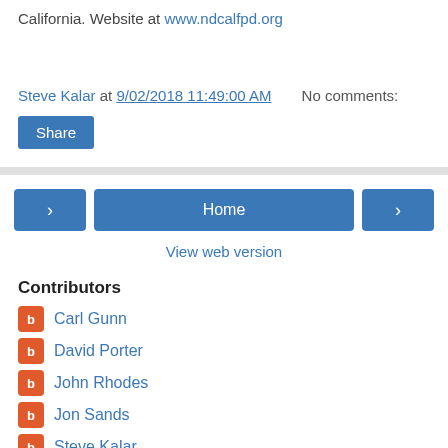California. Website at www.ndcalfpd.org
Steve Kalar at 9/02/2018 11:49:00 AM    No comments:
Share
Home
View web version
Contributors
Carl Gunn
David Porter
John Rhodes
Jon Sands
Steve Kalar